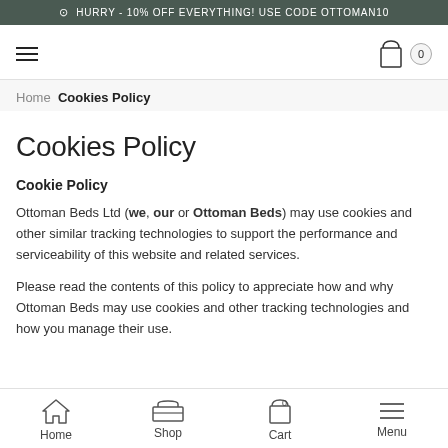⊙ HURRY - 10% OFF EVERYTHING! USE CODE OTTOMAN10
Navigation bar with hamburger menu and cart icon (0 items)
Home  Cookies Policy
Cookies Policy
Cookie Policy
Ottoman Beds Ltd (we, our or Ottoman Beds) may use cookies and other similar tracking technologies to support the performance and serviceability of this website and related services.
Please read the contents of this policy to appreciate how and why Ottoman Beds may use cookies and other tracking technologies and how you manage their use.
Home  Shop  Cart 0  Menu